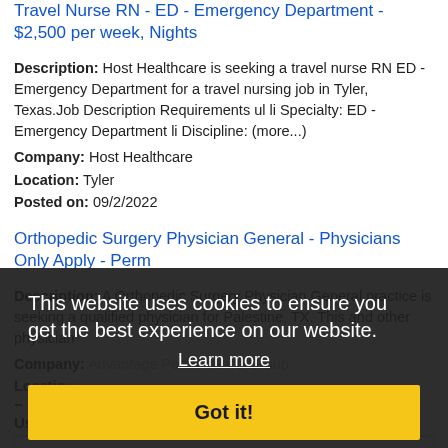Travel Nurse RN - ED - Emergency Department - $2,500 per week, Nights
Description: Host Healthcare is seeking a travel nurse RN ED - Emergency Department for a travel nursing job in Tyler, Texas.Job Description Requirements ul li Specialty: ED - Emergency Department li Discipline: (more...)
Company: Host Healthcare
Location: Tyler
Posted on: 09/2/2022
Orthopedic Surgery Physician General - Physicians Only Apply - Perm
Description: A Orthopedic Surgery Physician General practice is seeking a qualified physician for Palestine, TX. This and other physician
Company: Advantage Performance Group
Location:
Posted on: 09/2/2022
Loading more jobs...
This website uses cookies to ensure you get the best experience on our website.
Learn more
Got it!
Log In or Create An Account
Username: